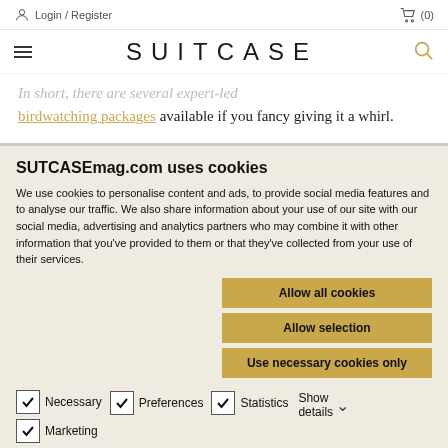Login / Register  (0)
SUITCASE
...there are several expert-led birdwatching packages available if you fancy giving it a whirl.
SUTCASEmag.com uses cookies
We use cookies to personalise content and ads, to provide social media features and to analyse our traffic. We also share information about your use of our site with our social media, advertising and analytics partners who may combine it with other information that you've provided to them or that they've collected from your use of their services.
Allow all cookies | Allow selection | Use necessary cookies only
Necessary  Preferences  Statistics  Show details  Marketing